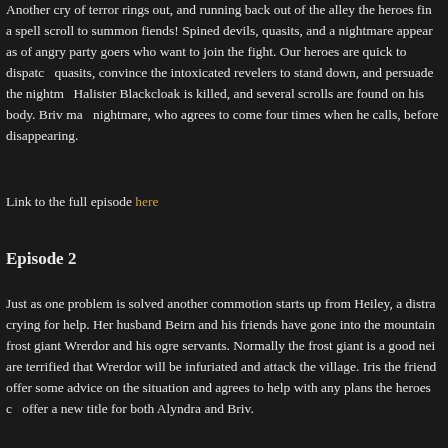Another cry of terror rings out, and running back out of the alley the heroes find a spell scroll to summon fiends! Spined devils, quasits, and a nightmare appear as a mob of angry party goers who want to join the fight. Our heroes are quick to dispatch the quasits, convince the intoxicated revelers to stand down, and persuade the nightmare. Halister Blackcloak is killed, and several scrolls are found on his body. Briv makes a deal with the nightmare, who agrees to come four times when he calls, before disappearing.
Link to the full episode here
Episode 2
Just as one problem is solved another commotion starts up from Heiley, a distracted woman crying for help. Her husband Beirn and his friends have gone into the mountains and attacked a frost giant Wrerdor and his ogre servants. Normally the frost giant is a good neighbor but they are terrified that Wrerdor will be infuriated and attack the village. Iris the friendly barmaid can offer some advice on the situation and agrees to help with any plans the heroes come up with and offer a new title for both Alyndra and Briv.
The group head up the mountain to try and find the pranksters before they can stir up trouble, blocked and their trip is hampered by a Sneeze Breeze trap and then a pack of angry owlbears. The creatures are quickly killed, but Orisha’s deva rewinds time to save the owlbear. By casting speak with animals they discover she’s just protecting her cubs hiding in a cave, and Briv casts revivify to bring the other back to life. Continuing up the mountainside the heroes catch the sight of a flaming mountain with a massive creature flying over it that brings a warning from Orisha. But it’s too far away to do much about.
Eventually, they find a tunnel entrance with a sign indicating it leads to Wrerdor, inside the cave is a screaming woman – a member of Beirn’s crew. She relays the story...